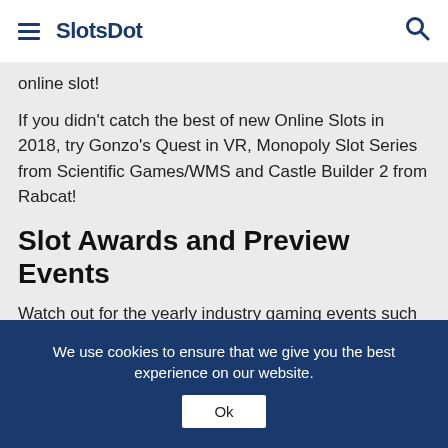SlotsDot
online slot!
If you didn't catch the best of new Online Slots in 2018, try Gonzo's Quest in VR, Monopoly Slot Series from Scientific Games/WMS and Castle Builder 2 from Rabcat!
Slot Awards and Preview Events
Watch out for the yearly industry gaming events such as ICE 2020 where new games and the most exciting industry developments are launched from the year ahead! Award ceremonies are the culmination and celebration of all the industry developments and achievements in the last year. They recognise the top games developers and
We use cookies to ensure that we give you the best experience on our website.